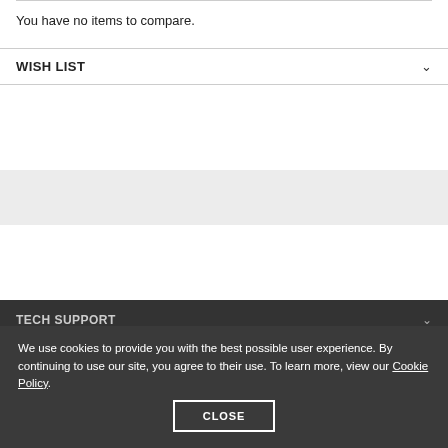You have no items to compare.
WISH LIST
TECH SUPPORT
Latest News
Events
We use cookies to provide you with the best possible user experience. By continuing to use our site, you agree to their use. To learn more, view our Cookie Policy.